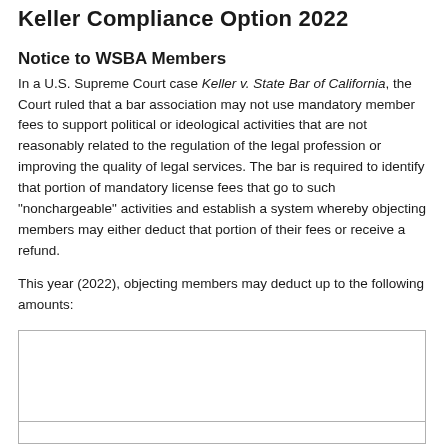Keller Compliance Option 2022
Notice to WSBA Members
In a U.S. Supreme Court case Keller v. State Bar of California, the Court ruled that a bar association may not use mandatory member fees to support political or ideological activities that are not reasonably related to the regulation of the legal profession or improving the quality of legal services. The bar is required to identify that portion of mandatory license fees that go to such "nonchargeable" activities and establish a system whereby objecting members may either deduct that portion of their fees or receive a refund.
This year (2022), objecting members may deduct up to the following amounts: